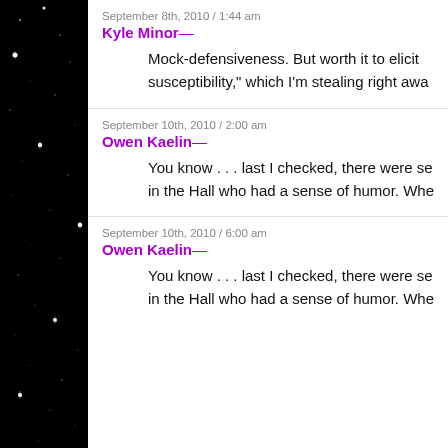September 8th, 2010 / 1:44 am
Kyle Minor—
Mock-defensiveness. But worth it to elicit susceptibility," which I'm stealing right awa
September 10th, 2010 / 2:00 am
Owen Kaelin—
You know . . . last I checked, there were se in the Hall who had a sense of humor. Whe
September 10th, 2010 / 6:00 am
Owen Kaelin—
You know . . . last I checked, there were se in the Hall who had a sense of humor. Whe